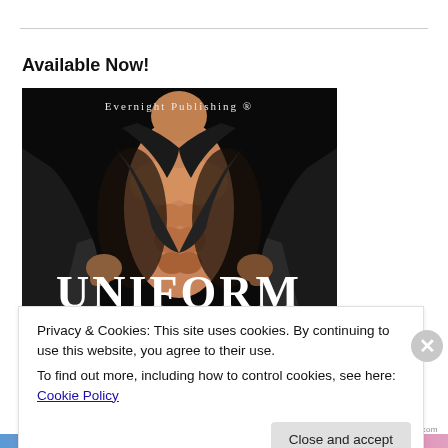Available Now!
[Figure (illustration): Book cover for 'Uniform' published by Evernight Publishing. Dark background with muscular man opening a leather jacket, large white serif text reading 'UNIFORM' at bottom with red script text below.]
Privacy & Cookies: This site uses cookies. By continuing to use this website, you agree to their use.
To find out more, including how to control cookies, see here: Cookie Policy
Close and accept